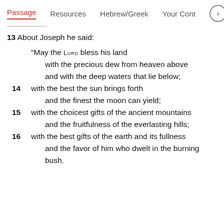Passage   Resources   Hebrew/Greek   Your Cont >
13 About Joseph he said:

"May the LORD bless his land
    with the precious dew from heaven above
    and with the deep waters that lie below;
14  with the best the sun brings forth
    and the finest the moon can yield;
15  with the choicest gifts of the ancient mountains
    and the fruitfulness of the everlasting hills;
16  with the best gifts of the earth and its fullness
    and the favor of him who dwelt in the burning bush.